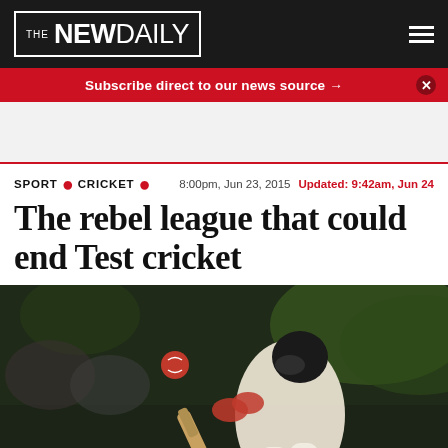THE NEWDAILY
Subscribe direct to our news source →
SPORT • CRICKET • 8:00pm, Jun 23, 2015 Updated: 9:42am, Jun 24
The rebel league that could end Test cricket
[Figure (photo): Cricket batsman in white uniform playing a shot, ball visible in the air, blurred crowd background, advertising board with 'tBlu' text visible at bottom]